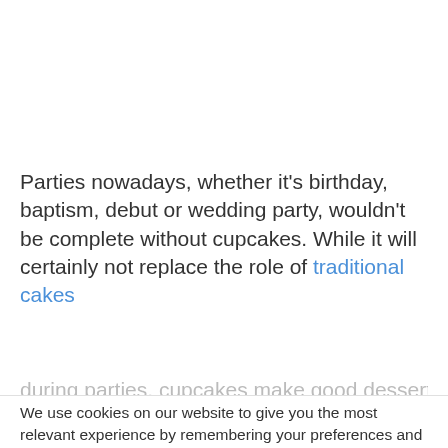Parties nowadays, whether it's birthday, baptism, debut or wedding party, wouldn't be complete without cupcakes. While it will certainly not replace the role of traditional cakes during parties, cupcakes make good dessert as
We use cookies on our website to give you the most relevant experience by remembering your preferences and repeat visits. By clicking "Accept", you consent to the use of ALL the cookies.
Cookie Settings
ACCEPT
[Figure (infographic): Social share icons: Facebook (blue), Twitter (light blue), LinkedIn (dark blue), Pinterest (dark red), Reddit (orange-red), More/Share (light blue)]